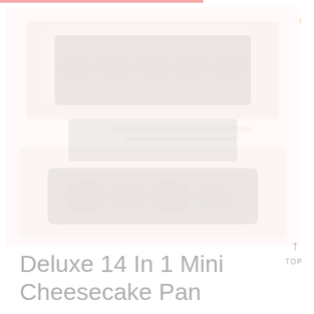[Figure (photo): Faded/watermarked photo of a mini cheesecake pan product, mostly washed out in light pink/white tones. Shows what appears to be baking equipment with cheesecakes or similar baked goods.]
Deluxe 14 In 1 Mini Cheesecake Pan